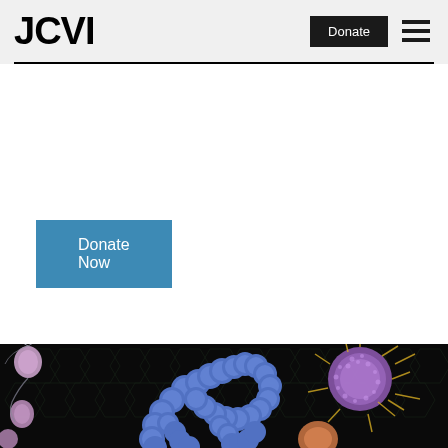JCVI
Donate
Donate Now
[Figure (photo): Scientific microscopy illustration of bacteria (blue chain-like structures), cancer cells (pink/purple spiky sphere), and other microorganisms on a dark background with hexagonal grid pattern]